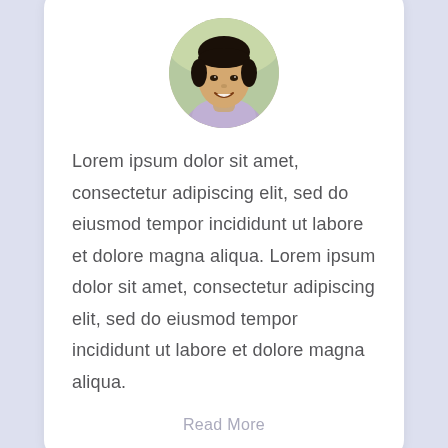[Figure (photo): Circular cropped portrait photo of a smiling young man with dark hair, wearing a light purple shirt, against a blurred green outdoor background.]
Lorem ipsum dolor sit amet, consectetur adipiscing elit, sed do eiusmod tempor incididunt ut labore et dolore magna aliqua. Lorem ipsum dolor sit amet, consectetur adipiscing elit, sed do eiusmod tempor incididunt ut labore et dolore magna aliqua.
Read More